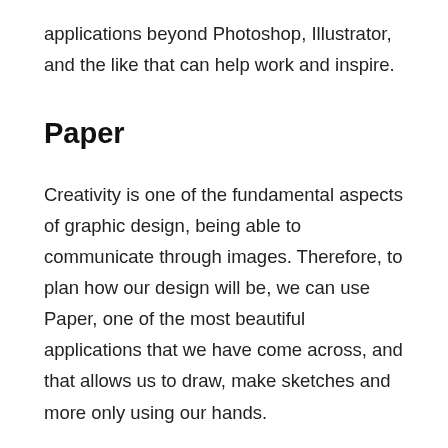applications beyond Photoshop, Illustrator, and the like that can help work and inspire.
Paper
Creativity is one of the fundamental aspects of graphic design, being able to communicate through images. Therefore, to plan how our design will be, we can use Paper, one of the most beautiful applications that we have come across, and that allows us to draw, make sketches and more only using our hands.
Pinterest
Although for many “ordinary” users, Pinterest has